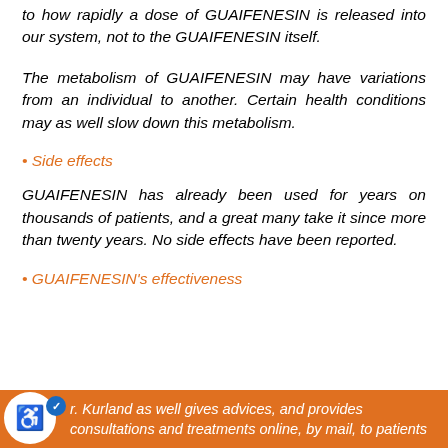to how rapidly a dose of GUAIFENESIN is released into our system, not to the GUAIFENESIN itself.
The metabolism of GUAIFENESIN may have variations from an individual to another. Certain health conditions may as well slow down this metabolism.
• Side effects
GUAIFENESIN has already been used for years on thousands of patients, and a great many take it since more than twenty years. No side effects have been reported.
• GUAIFENESIN's effectiveness
r. Kurland as well gives advices, and provides consultations and treatments online, by mail, to patients